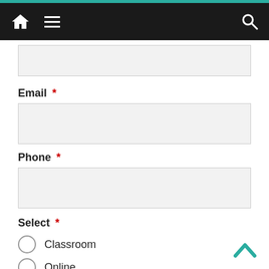Navigation bar with home, menu, and search icons
Email *
Phone *
Select *
Classroom
Online